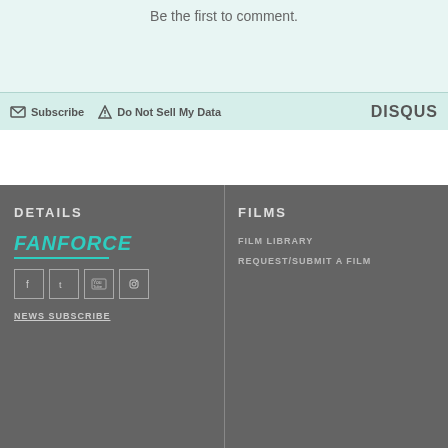Be the first to comment.
Subscribe   Do Not Sell My Data   DISQUS
DETAILS
[Figure (logo): FanForce logo in teal/cyan italic bold text with underline]
[Figure (infographic): Social media icons: Facebook, Twitter, YouTube, Instagram in square outlines]
NEWS SUBSCRIBE
FILMS
FILM LIBRARY
REQUEST/SUBMIT A FILM